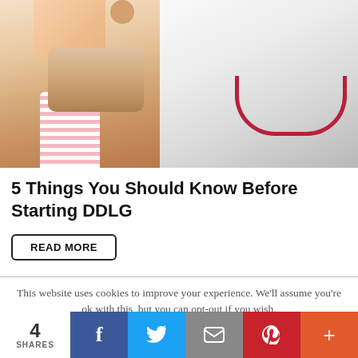[Figure (photo): Two people in colorful and white outfits; left figure wearing floral top, shorts, pink striped knee socks; right figure wearing white leotard with red trim]
5 Things You Should Know Before Starting DDLG
READ MORE
This website uses cookies to improve your experience. We'll assume you're ok with this, but you can opt-out if you wish.
4 SHARES | Facebook | Twitter | Email | Pinterest | More